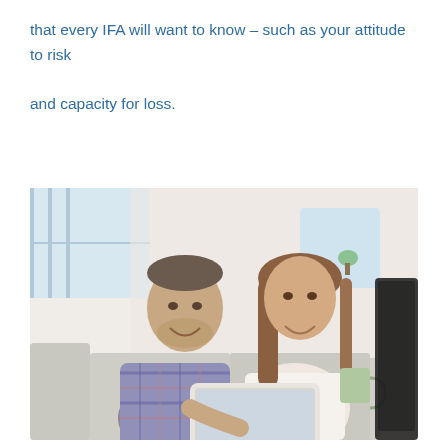that every IFA will want to know – such as your attitude to risk and capacity for loss.
[Figure (photo): A smiling couple sitting on a sofa together looking at a tablet device. The man wears a plaid shirt and the woman has long brown hair. A blurred TV screen is visible on the right edge.]